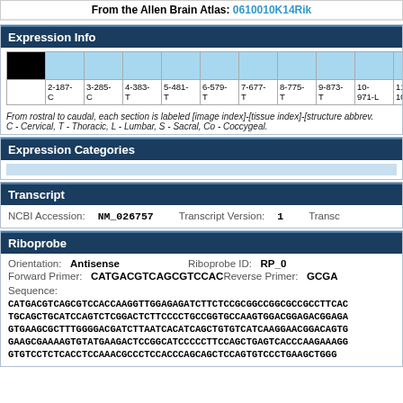From the Allen Brain Atlas: 0610010K14Rik
Expression Info
|  | 2-187-C | 3-285-C | 4-383-T | 5-481-T | 6-579-T | 7-677-T | 8-775-T | 9-873-T | 10-971-L | 11-1069-L | 12-1167-L |
| --- | --- | --- | --- | --- | --- | --- | --- | --- | --- | --- | --- |
| [black] | [blue] | [blue] | [blue] | [blue] | [blue] | [blue] | [blue] | [blue] | [blue] | [blue] | [blue] |
From rostral to caudal, each section is labeled [image index]-[tissue index]-[structure abbrev.] C - Cervical, T - Thoracic, L - Lumbar, S - Sacral, Co - Coccygeal.
Expression Categories
Transcript
NCBI Accession: NM_026757   Transcript Version: 1   Transcript...
Riboprobe
Orientation: Antisense   Riboprobe ID: RP_0...   Forward Primer: CATGACGTCAGCGTCCAC   Reverse Primer: GCGA...
Sequence:
CATGACGTCAGCGTCCACCAAGGTTGGAGAGATCTTCTCCGCGGCCGGCGCCGCCTTCAC TGCAGCTGCATCCAGTCTCGGACTCTTCCCCTGCCGGTGCCAAGTGGACGGAGACGGAGA GTGAAGCGCTTTGGGGACGATCTTAATCACATCAGCTGTGTCATCAAGGAACGGACAGTG GAAGCGAAAAGTGTATGAAGACTCCGGCATCCCCCTTCCAGCTGAGTCACCCAAGAAAGG GTGTCCTCTCACCTCCAAACGCCCTCCACCCAGCAGCTCCAGTGTCCCTGAAGCTGGG